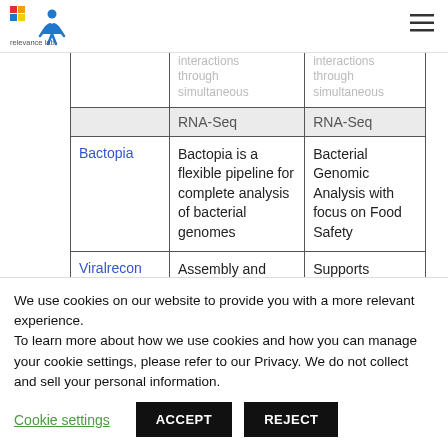[Figure (logo): Relevance Lab logo with colorful squares and person figure icon, text 'relevance lab']
|  | Description | Use Case |
| --- | --- | --- |
|  | data, interrogating host-pathogen interactions through simultaneous RNA-Seq | data, interrogating host-pathogen interactions through simultaneous RNA-Seq |
| Bactopia | Bactopia is a flexible pipeline for complete analysis of bacterial genomes | Bacterial Genomic Analysis with focus on Food Safety |
| Viralrecon | Assembly and | Supports |
We use cookies on our website to provide you with a more relevant experience.
To learn more about how we use cookies and how you can manage your cookie settings, please refer to our Privacy.
We do not collect and sell your personal information.
Cookie settings   ACCEPT   REJECT